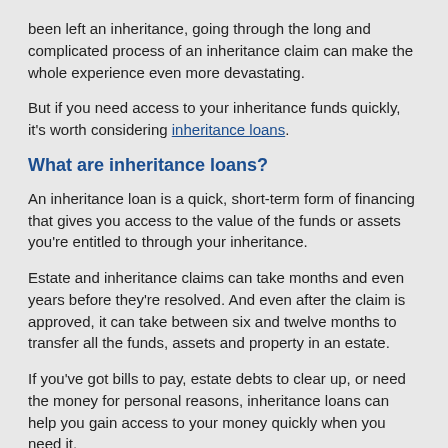been left an inheritance, going through the long and complicated process of an inheritance claim can make the whole experience even more devastating.
But if you need access to your inheritance funds quickly, it's worth considering inheritance loans.
What are inheritance loans?
An inheritance loan is a quick, short-term form of financing that gives you access to the value of the funds or assets you're entitled to through your inheritance.
Estate and inheritance claims can take months and even years before they're resolved. And even after the claim is approved, it can take between six and twelve months to transfer all the funds, assets and property in an estate.
If you've got bills to pay, estate debts to clear up, or need the money for personal reasons, inheritance loans can help you gain access to your money quickly when you need it.